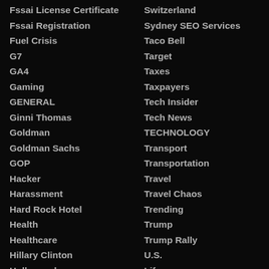Fssai License Certificate
Fssai Registration
Fuel Crisis
G7
GA4
Gaming
GENERAL
Ginni Thomas
Goldman
Goldman Sachs
GOP
Hacker
Harassment
Hard Rock Hotel
Health
Healthcare
Hillary Clinton
Hollywood
Switzerland
Sydney SEO Services
Taco Bell
Target
Taxes
Taxpayers
Tech Insider
Tech News
TECHNOLOGY
Transport
Transportation
Travel
Travel Chaos
Trending
Trump
Trump Rally
U.S.
Life